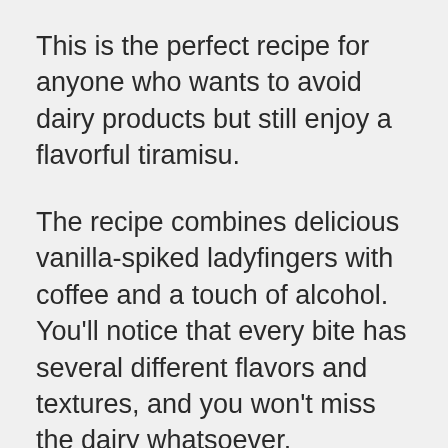This is the perfect recipe for anyone who wants to avoid dairy products but still enjoy a flavorful tiramisu.
The recipe combines delicious vanilla-spiked ladyfingers with coffee and a touch of alcohol. You'll notice that every bite has several different flavors and textures, and you won't miss the dairy whatsoever.